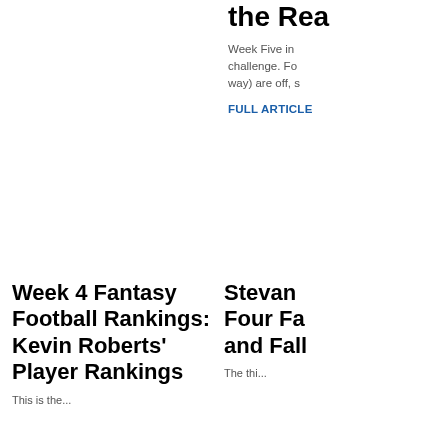the Rea
Week Five in challenge. Fo way) are off, s
FULL ARTICLE
Week 4 Fantasy Football Rankings: Kevin Roberts' Player Rankings
This is the...
Stevan Four Fa and Fall
The thi...